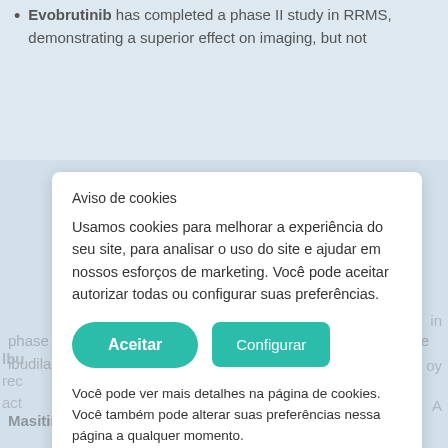Evobrutinib has completed a phase II study in RRMS, demonstrating a superior effect on imaging, but not
Aviso de cookies
Usamos cookies para melhorar a experiência do seu site, para analisar o uso do site e ajudar em nossos esforços de marketing. Você pode aceitar autorizar todas ou configurar suas preferências.
Aceitar
Configurar
Você pode ver mais detalhes na página de cookies. Você também pode alterar suas preferências nessa página a qualquer momento.
phase 3 clinical trial is currently being planned that will evaluate ibudilast in people with SPMS without relapses.
Masitinib is an experimental drug targeted at SPMS and